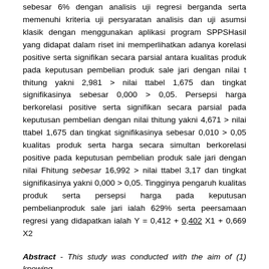sebesar 6% dengan analisis uji regresi berganda serta memenuhi kriteria uji persyaratan analisis dan uji asumsi klasik dengan menggunakan aplikasi program SPPSHasil yang didapat dalam riset ini memperlihatkan adanya korelasi positive serta signifikan secara parsial antara kualitas produk pada keputusan pembelian produk sale jari dengan nilai t thitung yakni 2,981 > nilai ttabel 1,675 dan tingkat signifikasinya sebesar 0,000 > 0,05. Persepsi harga berkorelasi positive serta signifikan secara parsial pada keputusan pembelian dengan nilai thitung yakni 4,671 > nilai ttabel 1,675 dan tingkat signifikasinya sebesar 0,010 > 0,05 kualitas produk serta harga secara simultan berkorelasi positive pada keputusan pembelian produk sale jari dengan nilai Fhitung sebesar 16,992 > nilai ttabel 3,17 dan tingkat signifikasinya yakni 0,000 > 0,05. Tingginya pengaruh kualitas produk serta persepsi harga pada keputusan pembelianproduk sale jari ialah 629% serta peersamaan regresi yang didapatkan ialah Y = 0,412 + 0,402 X1 + 0,669 X2
Abstract - This study was conducted with the aim of (1) knowing